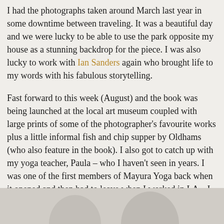I had the photographs taken around March last year in some downtime between traveling. It was a beautiful day and we were lucky to be able to use the park opposite my house as a stunning backdrop for the piece. I was also lucky to work with Ian Sanders again who brought life to my words with his fabulous storytelling.

Fast forward to this week (August) and the book was being launched at the local art museum coupled with large prints of some of the photographer's favourite works plus a little informal fish and chip supper by Oldhams (who also feature in the book). I also got to catch up with my yoga teacher, Paula – who I haven't seen in years. I was one of the first members of Mayura Yoga back when it opened and then had to leave when I worked in LA – I have no excuse for not getting back to it since coming home, however, something I need to rectify!
[Figure (photo): Bottom strip showing tops of two people's heads against a light grey background, partially cropped]